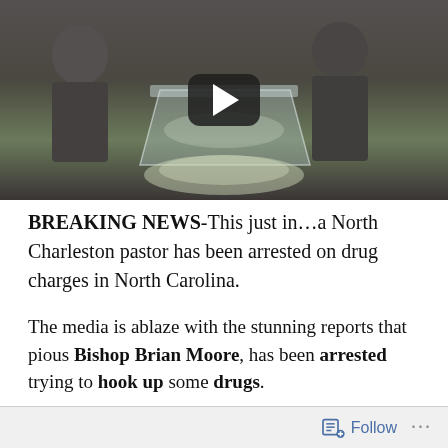[Figure (screenshot): Video thumbnail showing people at a podium/pulpit, with a YouTube-style play button overlay in the center]
BREAKING NEWS-This just in…a North Charleston pastor has been arrested on drug charges in North Carolina.
The media is ablaze with the stunning reports that pious Bishop Brian Moore, has been arrested trying to hook up some drugs.
And what particular devil- narcotic was the trusted Bishop…
Follow ...